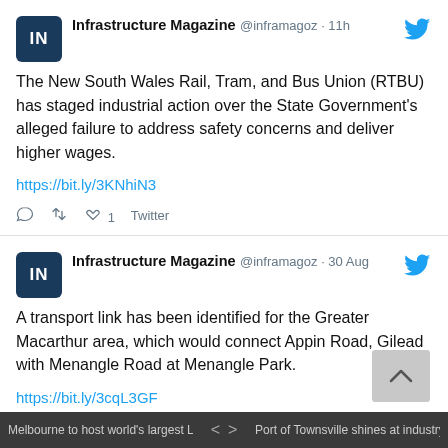[Figure (screenshot): Twitter/social media feed screenshot showing two tweets from Infrastructure Magazine (@inframagoz)]
Infrastructure Magazine @inframagoz · 11h
The New South Wales Rail, Tram, and Bus Union (RTBU) has staged industrial action over the State Government's alleged failure to address safety concerns and deliver higher wages.
https://bit.ly/3KNhiN3
♡ 1   Twitter
Infrastructure Magazine @inframagoz · 30 Aug
A transport link has been identified for the Greater Macarthur area, which would connect Appin Road, Gilead with Menangle Road at Menangle Park.
https://bit.ly/3cqL3GF
♡ 1   Twitter
Melbourne to host world's largest Lego s…   <   >   Port of Townsville shines at industry aw…